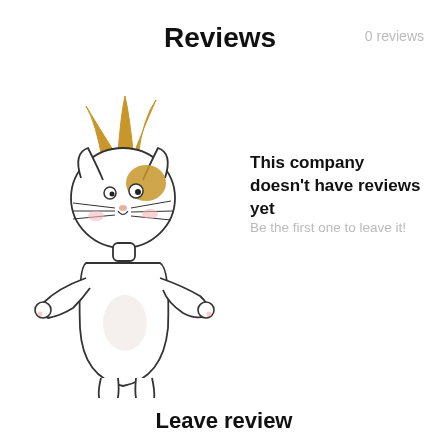Reviews
0 reviews
[Figure (illustration): Hand-drawn cartoon cat wearing a crown, standing upright with arms outstretched]
This company doesn't have reviews yet
Be the first one to leave it!
Leave review